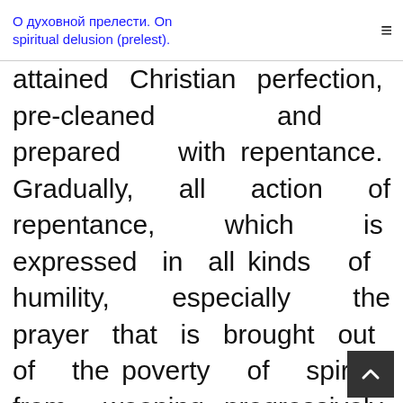О духовной прелести. On spiritual delusion (prelest).
attained Christian perfection, pre-cleaned and prepared with repentance. Gradually, all action of repentance, which is expressed in all kinds of humility, especially the prayer that is brought out of the poverty of spirit, from weeping, progressively weakens the action of sin in man. This requires a lot of time. And it is given to true, loyal ascetics